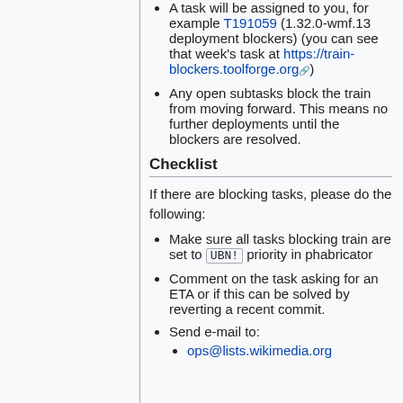A task will be assigned to you, for example T191059 (1.32.0-wmf.13 deployment blockers) (you can see that week's task at https://train-blockers.toolforge.org)
Any open subtasks block the train from moving forward. This means no further deployments until the blockers are resolved.
Checklist
If there are blocking tasks, please do the following:
Make sure all tasks blocking train are set to UBN! priority in phabricator
Comment on the task asking for an ETA or if this can be solved by reverting a recent commit.
Send e-mail to:
ops@lists.wikimedia.org